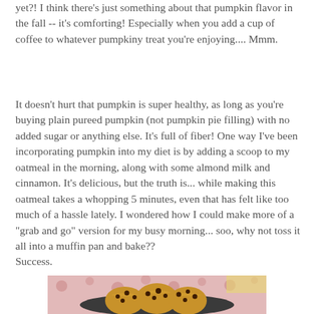yet?! I think there's just something about that pumpkin flavor in the fall -- it's comforting! Especially when you add a cup of coffee to whatever pumpkiny treat you're enjoying.... Mmm.
It doesn't hurt that pumpkin is super healthy, as long as you're buying plain pureed pumpkin (not pumpkin pie filling) with no added sugar or anything else. It's full of fiber! One way I've been incorporating pumpkin into my diet is by adding a scoop to my oatmeal in the morning, along with some almond milk and cinnamon. It's delicious, but the truth is... while making this oatmeal takes a whopping 5 minutes, even that has felt like too much of a hassle lately. I wondered how I could make more of a "grab and go" version for my busy morning... soo, why not toss it all into a muffin pan and bake??
Success.
[Figure (photo): A plate of pumpkin oatmeal muffins topped with chocolate chips, on a red patterned tablecloth background.]